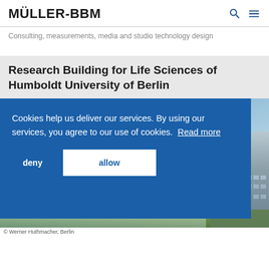MÜLLER-BBM
Consulting, measurements, media and studio technology design
Research Building for Life Sciences of Humboldt University of Berlin
[Figure (screenshot): Aerial or artistic photo showing a circular green/silver lens or ring structure against a blue sky, with a historic building visible at the right edge.]
Cookies help us deliver our services. By using our services, you agree to our use of cookies.  Read more
deny   allow
© Werner Huthmacher, Berlin